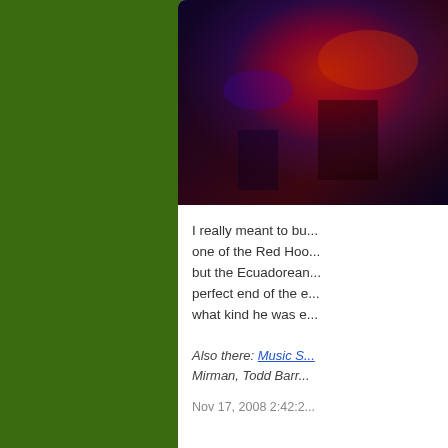[Figure (photo): Dark photo of a concert/music scene with red and purple lighting]
I really meant to bu... one of the Red Hoo... but the Ecuadorean... perfect end of the e... what kind he was e...
Also there: Music S... Mirman, Todd Barr...
Nov 17, 2008 2:42:2...
Com...
A.C. Newm...